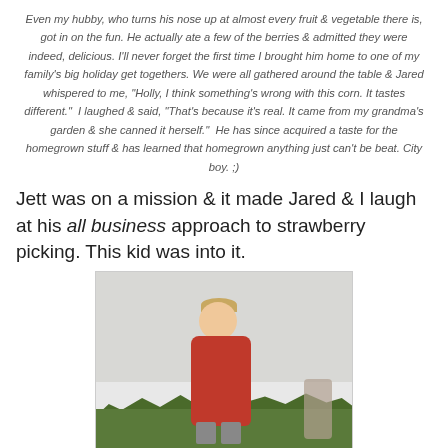Even my hubby, who turns his nose up at almost every fruit & vegetable there is, got in on the fun. He actually ate a few of the berries & admitted they were indeed, delicious. I'll never forget the first time I brought him home to one of my family's big holiday get togethers. We were all gathered around the table & Jared whispered to me, "Holly, I think something's wrong with this corn. It tastes different." I laughed & said, "That's because it's real. It came from my grandma's garden & she canned it herself." He has since acquired a taste for the homegrown stuff & has learned that homegrown anything just can't be beat. City boy. ;)
Jett was on a mission & it made Jared & I laugh at his all business approach to strawberry picking. This kid was into it.
[Figure (photo): A young blonde boy in a red shirt picking strawberries in a field, with green trees and an overcast sky in the background. Another person is partially visible on the right.]